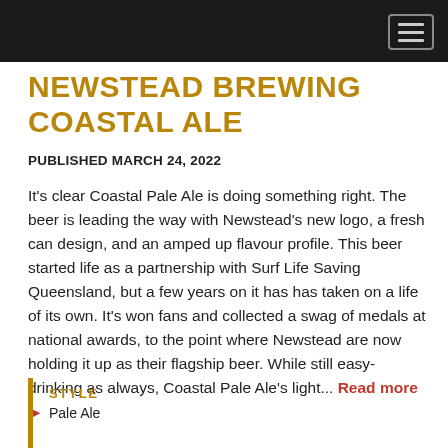NEWSTEAD BREWING COASTAL ALE
PUBLISHED MARCH 24, 2022
It's clear Coastal Pale Ale is doing something right. The beer is leading the way with Newstead's new logo, a fresh can design, and an amped up flavour profile. This beer started life as a partnership with Surf Life Saving Queensland, but a few years on it has has taken on a life of its own. It's won fans and collected a swag of medals at national awards, to the point where Newstead are now holding it up as their flagship beer. While still easy-drinking as always, Coastal Pale Ale's light... Read more ▶
STYLE
Pale Ale